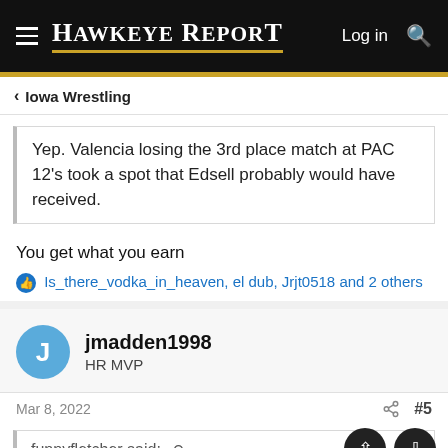HAWKEYE REPORT  Log in  🔍
< Iowa Wrestling
Yep. Valencia losing the 3rd place match at PAC 12's took a spot that Edsell probably would have received.
You get what you earn
👍 Is_there_vodka_in_heaven, el dub, Jrjt0518 and 2 others
jmadden1998
HR MVP
Mar 8, 2022  #5
funnyfletcher said: ↩